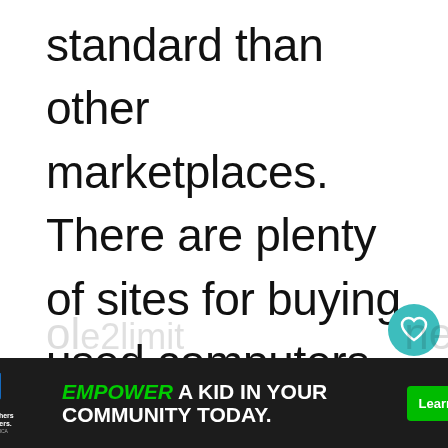standard than other marketplaces. There are plenty of sites for buying used computers but what exactly are you getting? Unlike Craigslist and eBay, every listing for sale on Swappa is manually reviewed by their group of tech experts to ensure you receive yo item in the condition you e If you want to buy a MacBook
[Figure (other): Heart (like) button — teal circular icon with a heart outline]
[Figure (other): Share button — light gray circular icon with share arrows]
[Figure (other): What's Next panel with thumbnail image and text 'Want to be Hiking at 50...']
[Figure (other): Advertisement banner: Big Brothers Big Sisters logo, 'EMPOWER A KID IN YOUR COMMUNITY TODAY.' with 'Learn How' CTA button]